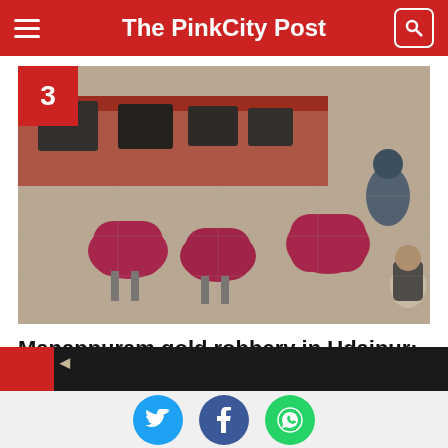The PinkCity Post
[Figure (photo): CCTV footage showing interior of a Manappuram gold loan office with pink/red chairs and desks, employees on the ground during robbery]
Manappuram gold robbery in Udaipur: Employees recall 23 minutes of horror
[Figure (photo): Partial view of another news article image at the bottom of the page]
Social sharing buttons: Twitter, Facebook, WhatsApp